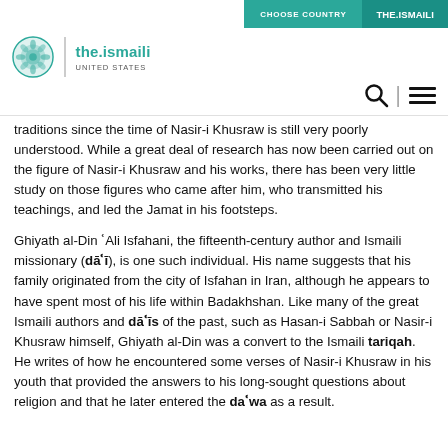CHOOSE COUNTRY | the.ismaili
[Figure (logo): the.ismaili logo with teal circular emblem, vertical divider, bold teal text 'the.ismaili' and subtitle 'UNITED STATES']
traditions since the time of Nasir-i Khusraw is still very poorly understood. While a great deal of research has now been carried out on the figure of Nasir-i Khusraw and his works, there has been very little study on those figures who came after him, who transmitted his teachings, and led the Jamat in his footsteps.
Ghiyath al-Din ʿAli Isfahani, the fifteenth-century author and Ismaili missionary (dāʿī), is one such individual. His name suggests that his family originated from the city of Isfahan in Iran, although he appears to have spent most of his life within Badakhshan. Like many of the great Ismaili authors and dāʿīs of the past, such as Hasan-i Sabbah or Nasir-i Khusraw himself, Ghiyath al-Din was a convert to the Ismaili tariqah. He writes of how he encountered some verses of Nasir-i Khusraw in his youth that provided the answers to his long-sought questions about religion and that he later entered the daʿwa as a result.